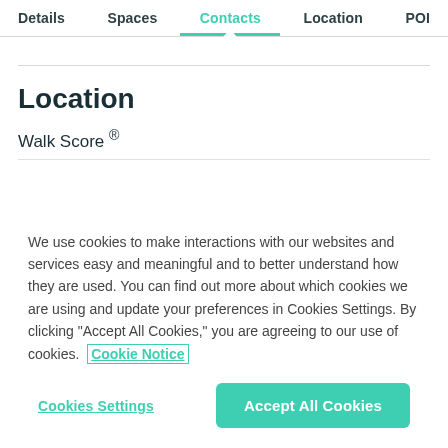Details  Spaces  Contacts  Location  POI
Location
Walk Score ®
We use cookies to make interactions with our websites and services easy and meaningful and to better understand how they are used. You can find out more about which cookies we are using and update your preferences in Cookies Settings. By clicking "Accept All Cookies," you are agreeing to our use of cookies.  Cookie Notice
Cookies Settings   Accept All Cookies